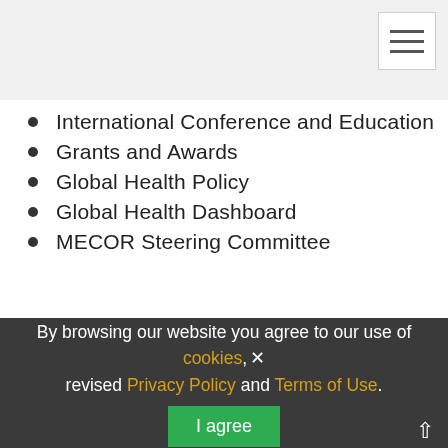International Conference and Education
Grants and Awards
Global Health Policy
Global Health Dashboard
MECOR Steering Committee
[Figure (illustration): An oval/egg shape with a blue-shadowed outline and cream/yellow fill, containing the text 'Global Health Roadmap Working Group' in bold dark navy text, positioned at the bottom center of the page above the cookie banner.]
By browsing our website you agree to our use of cookies, revised Privacy Policy and Terms of Use.